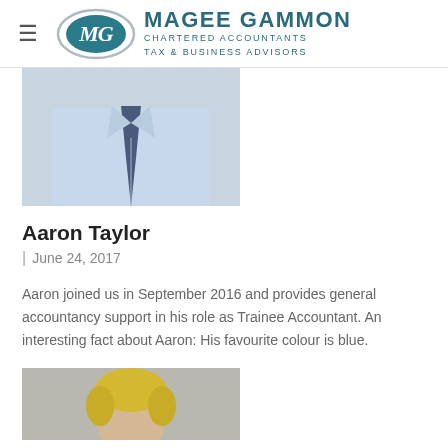MAGEE GAMMON CHARTERED ACCOUNTANTS TAX & BUSINESS ADVISORS
[Figure (photo): Photo of Aaron Taylor — torso shot wearing a light blue shirt and dark patterned tie]
Aaron Taylor
| June 24, 2017
Aaron joined us in September 2016 and provides general accountancy support in his role as Trainee Accountant. An interesting fact about Aaron: His favourite colour is blue.
[Figure (photo): Photo of another staff member — partial view showing face/top of head with blonde hair, grey background]